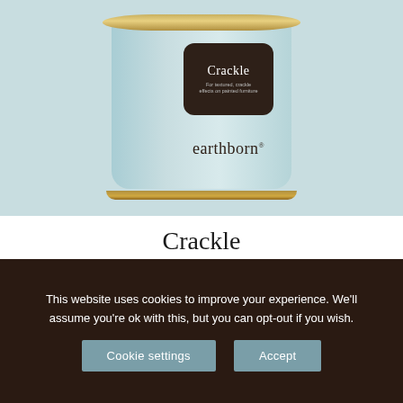[Figure (photo): A tin of Earthborn Crackle paint in pale blue/mint colour with a dark brown rounded-rectangle label showing 'Crackle' and subtitle text, and 'earthborn' branding on the tin body. The background is a soft light blue.]
Crackle
For textured, crackle effects on painted furniture.
This website uses cookies to improve your experience. We'll assume you're ok with this, but you can opt-out if you wish.